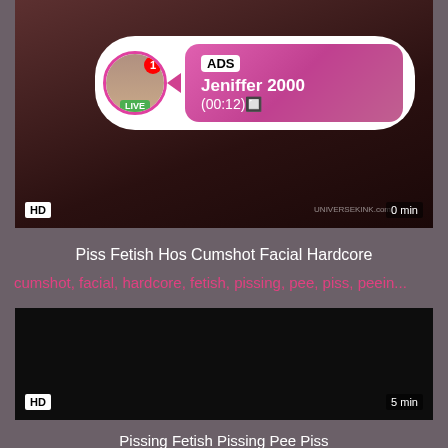[Figure (screenshot): Video thumbnail with HD badge, timer '0 min', and overlaid ad popup showing avatar with LIVE badge, notification, ADS label, name 'Jeniffer 2000', time '(00:12)']
Piss Fetish Hos Cumshot Facial Hardcore
cumshot, facial, hardcore, fetish, pissing, pee, piss, peein...
[Figure (screenshot): Dark video thumbnail with HD badge and '5 min' duration label]
Pissing Fetish Pissing Pee Piss